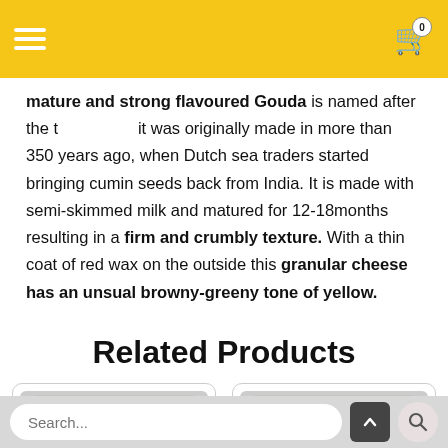Navigation bar with hamburger menu and shopping cart (0 items)
mature and strong flavoured Gouda is named after the town where it was originally made in more than 350 years ago, when Dutch sea traders started bringing cumin seeds back from India. It is made with semi-skimmed milk and matured for 12-18months resulting in a firm and crumbly texture. With a thin coat of red wax on the outside this granular cheese has an unsual browny-greeny tone of yellow.
Related Products
[Figure (photo): Product card showing a wedge of white/cream-coloured cheese on a grey background]
[Figure (photo): Product card showing a piece of blue-veined cheese on a grey background]
Search bar with scroll-to-top button and search button